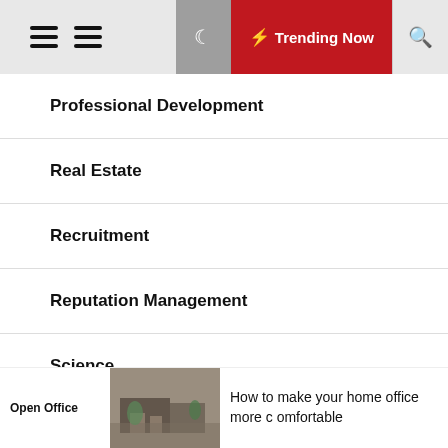Trending Now
Professional Development
Real Estate
Recruitment
Reputation Management
Science
Technology
Technology Law
Open Office  How to make your home office more comfortable